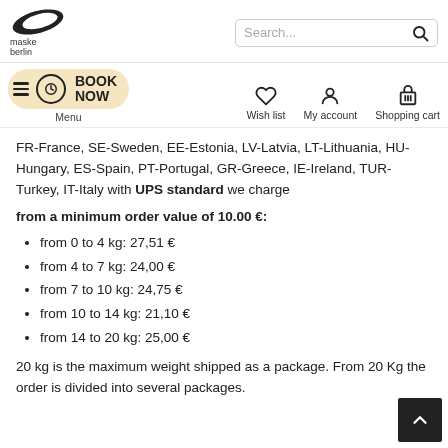[Figure (logo): maske berlin logo with leaf/feather shape above text]
FR-France, SE-Sweden, EE-Estonia, LV-Latvia, LT-Lithuania, HU-Hungary, ES-Spain, PT-Portugal, GR-Greece, IE-Ireland, TUR-Turkey, IT-Italy with UPS standard we charge
from a minimum order value of 10.00 €:
from 0 to 4 kg: 27,51 €
from 4 to 7 kg: 24,00 €
from 7 to 10 kg: 24,75 €
from 10 to 14 kg: 21,10 €
from 14 to 20 kg: 25,00 €
20 kg is the maximum weight shipped as a package. From 20 Kg the order is divided into several packages.